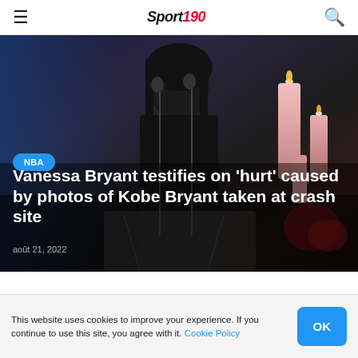Sport 190
[Figure (photo): Vanessa Bryant in black clothing speaking at a podium with microphones, dark background with candles visible on the right side]
NBA
Vanessa Bryant testifies on ‘hurt’ caused by photos of Kobe Bryant taken at crash site
août 21, 2022
About
This website uses cookies to improve your experience. If you continue to use this site, you agree with it. Cookie Policy